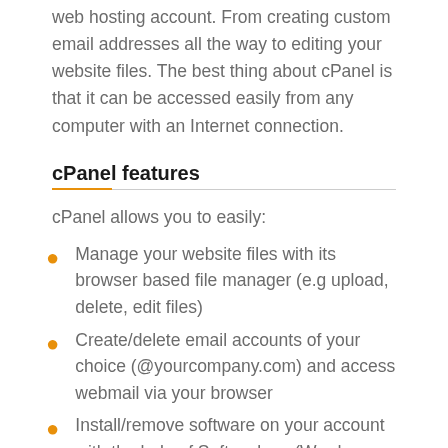web hosting account. From creating custom email addresses all the way to editing your website files. The best thing about cPanel is that it can be accessed easily from any computer with an Internet connection.
cPanel features
cPanel allows you to easily:
Manage your website files with its browser based file manager (e.g upload, delete, edit files)
Create/delete email accounts of your choice (@yourcompany.com) and access webmail via your browser
Install/remove software on your account with the help of Softaculous (Wordpress, Joomla etc)
Create/manage/delete databases and privileges
Manage account backups
View your account statistics (visitors to your website,